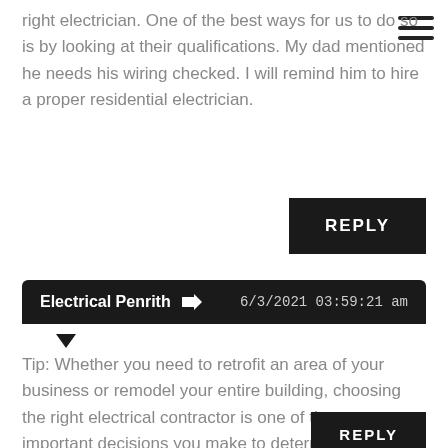[Figure (other): Hamburger menu icon (three horizontal lines) in top right corner]
right electrician. One of the best ways for us to do so is by looking at their qualifications. My dad mentioned he needs his wiring checked. I will remind him to hire a proper residential electrician.
REPLY
Electrical Penrith → 6/3/2021 03:59:21 am
Tip: Whether you need to retrofit an area of your business or remodel your entire building, choosing the right electrical contractor is one of the most important decisions you make to determine the success of the project. Commercial electric work requires an electrician with experience and skill working on large scale projects at businesses such as yours.
REPLY